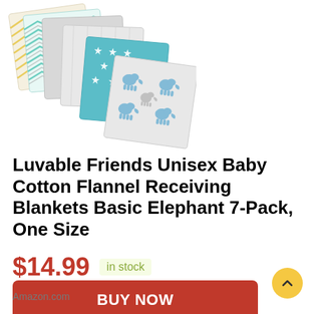[Figure (photo): Stack of 7 baby flannel receiving blankets fanned out diagonally. Patterns include chevron yellow/green, teal chevron, grey solid, grey textured, teal with white stars, and grey with blue elephants.]
Luvable Friends Unisex Baby Cotton Flannel Receiving Blankets Basic Elephant 7-Pack, One Size
$14.99  in stock
BUY NOW
Amazon.com